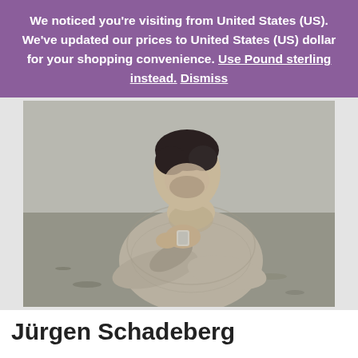We noticed you're visiting from United States (US). We've updated our prices to United States (US) dollar for your shopping convenience. Use Pound sterling instead. Dismiss
[Figure (photo): Black and white photograph of a young man in a chunky knit sweater, looking down at his hands holding a small object, standing in a field.]
Jürgen Schadeberg